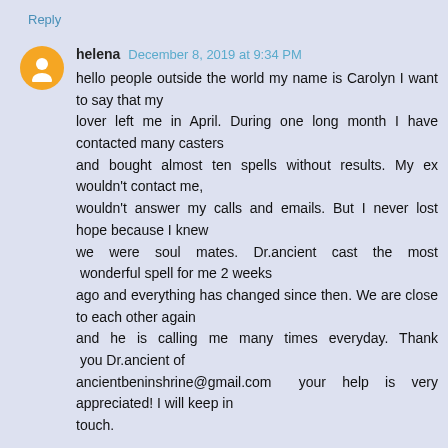Reply
helena  December 8, 2019 at 9:34 PM
hello people outside the world my name is Carolyn I want to say that my lover left me in April. During one long month I have contacted many casters and bought almost ten spells without results. My ex wouldn't contact me, wouldn't answer my calls and emails. But I never lost hope because I knew we were soul mates. Dr.ancient cast the most wonderful spell for me 2 weeks ago and everything has changed since then. We are close to each other again and he is calling me many times everyday. Thank you Dr.ancient of ancientbeninshrine@gmail.com your help is very appreciated! I will keep in touch.